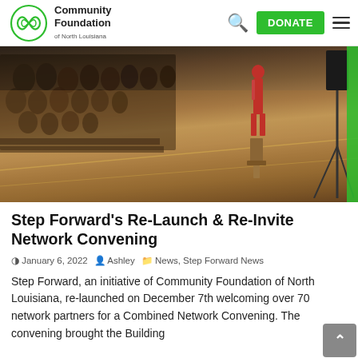Community Foundation of North Louisiana — DONATE
[Figure (photo): A community event/convening in a large hall with people seated in rows on the left and a speaker in a red dress at a podium on the right, wooden floor visible.]
Step Forward's Re-Launch & Re-Invite Network Convening
January 6, 2022   Ashley   News, Step Forward News
Step Forward, an initiative of Community Foundation of North Louisiana, re-launched on December 7th welcoming over 70 network partners for a Combined Network Convening. The convening brought the Building